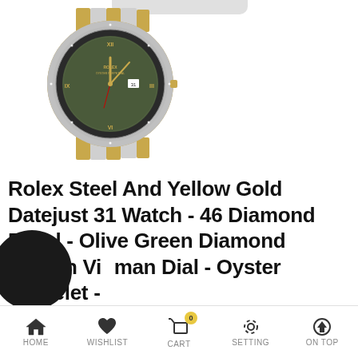[Figure (photo): Rolex Steel and Yellow Gold Datejust 31 watch with diamond bezel, olive green dial, and oyster bracelet]
Rolex Steel And Yellow Gold Datejust 31 Watch - 46 Diamond Bezel - Olive Green Diamond Roman Vioman Dial - Oyster Bracelet -
HOME   WISHLIST   CART   SETTING   ON TOP